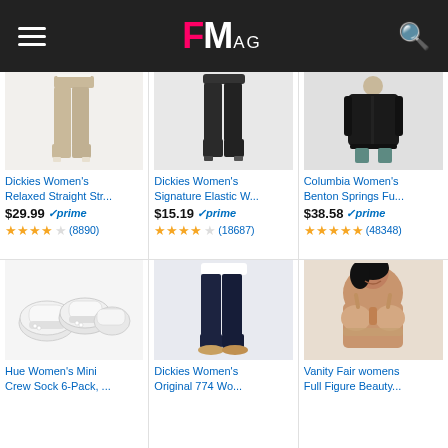FMag
[Figure (photo): Dickies Women's Relaxed Straight Str... - khaki pants product image]
Dickies Women's Relaxed Straight Str...
$29.99 ✓prime
★★★★☆ (8890)
[Figure (photo): Dickies Women's Signature Elastic W... - black elastic waist pants product image]
Dickies Women's Signature Elastic W...
$15.19 ✓prime
★★★★☆ (18687)
[Figure (photo): Columbia Women's Benton Springs Fu... - black fleece jacket product image]
Columbia Women's Benton Springs Fu...
$38.58 ✓prime
★★★★★ (48348)
[Figure (photo): Hue Women's Mini Crew Sock 6-Pack, ... - white ankle socks product image]
Hue Women's Mini Crew Sock 6-Pack, ...
[Figure (photo): Dickies Women's Original 774 Wo... - dark navy pants product image]
Dickies Women's Original 774 Wo...
[Figure (photo): Vanity Fair womens Full Figure Beauty... - beige bra product image]
Vanity Fair womens Full Figure Beauty...